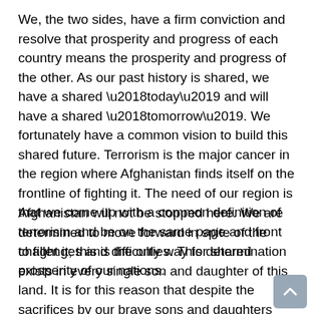We, the two sides, have a firm conviction and resolve that prosperity and progress of each country means the prosperity and progress of the other. As our past history is shared, we have a shared ‘today’ and will have a shared ‘tomorrow’. We fortunately have a common vision to build this shared future. Terrorism is the major cancer in the region where Afghanistan finds itself on the frontline of fighting it. The need of our region is that we come up with a common definition of terrorism and be on the same page and front to fight it; this is the only way for shared prosperity of our nations.
Afghanistan will not be stopped here. We are determined to move forward in spite of the challenges and difficulties. This determination exists in every single son and daughter of this land. It is for this reason that despite the sacrifices by our brave sons and daughters against terrorism and extremism and the heavy cost of war that we have born, with the passing of each day, we take a [continues]